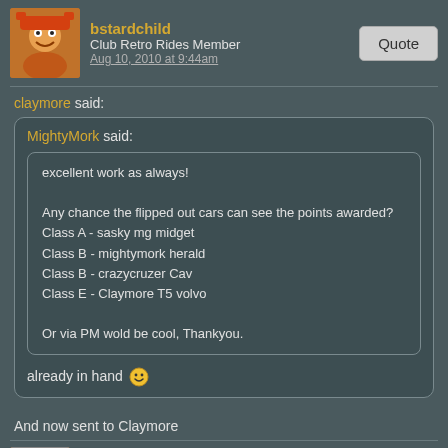bstardchild | Club Retro Rides Member | Aug 10, 2010 at 9:44am
claymore said:
MightyMork said:
excellent work as always!

Any chance the flipped out cars can see the points awarded?
Class A - sasky mg midget
Class B - mightymork herald
Class B - crazycruzer Cav
Class E - Claymore T5 volvo

Or via PM wold be cool, Thankyou.
already in hand 🙂
And now sent to Claymore
HARDCORE | Global Moderator